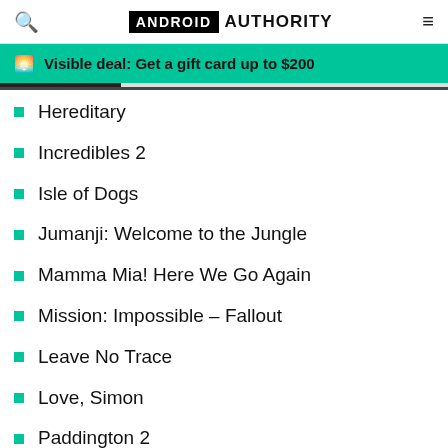ANDROID AUTHORITY
Visible deal: Get a gift card up to $200
Hereditary
Incredibles 2
Isle of Dogs
Jumanji: Welcome to the Jungle
Mamma Mia! Here We Go Again
Mission: Impossible – Fallout
Leave No Trace
Love, Simon
Paddington 2
A Quiet Place